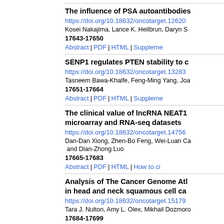The influence of PSA autoantibodies
https://doi.org/10.18632/oncotarget.12620
Kosei Nakajima, Lance K. Heilbrun, Daryn S...
17643-17650
Abstract | PDF | HTML | Suppleme...
SENP1 regulates PTEN stability to c
https://doi.org/10.18632/oncotarget.13283
Tasneem Bawa-Khalfe, Feng-Ming Yang, Joa...
17651-17664
Abstract | PDF | HTML | Suppleme...
The clinical value of lncRNA NEAT1 microarray and RNA-seq datasets
https://doi.org/10.18632/oncotarget.14756
Dan-Dan Xiong, Zhen-Bo Feng, Wei-Luan Ca and Dian-Zhong Luo
17665-17683
Abstract | PDF | HTML | How to ci...
Analysis of The Cancer Genome Atl in head and neck squamous cell ca
https://doi.org/10.18632/oncotarget.15179
Tara J. Nulton, Amy L. Olex, Mikhail Dozmoro...
17684-17699
Abstract | PDF | HTML | ...